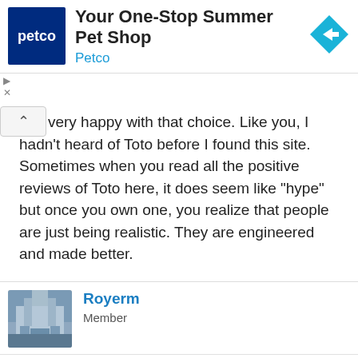[Figure (screenshot): Petco advertisement banner with logo, text 'Your One-Stop Summer Pet Shop / Petco', and a blue diamond arrow icon]
l be very happy with that choice. Like you, I hadn't heard of Toto before I found this site. Sometimes when you read all the positive reviews of Toto here, it does seem like "hype" but once you own one, you realize that people are just being realistic. They are engineered and made better.
Royerm
Member
Apr 17, 2011   #52
Jeff309 said: ↑
After reading up on various different brands of toilets, i've decided to purchase the TOTO UltraMax II. I was really leaning towards the KOHLER Santa Rosa, primarily for its 1pc looks & appeal. However, after reading the reviews from multiple sites, I had 2nd thoughts. I'd